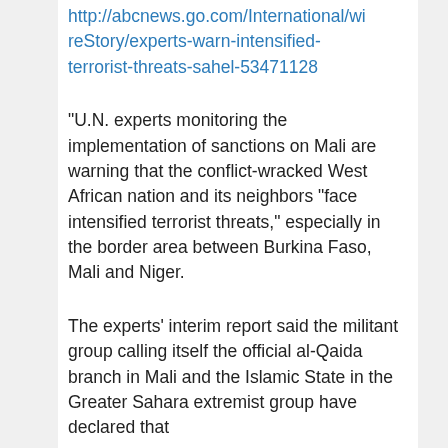http://abcnews.go.com/International/wireStory/experts-warn-intensified-terrorist-threats-sahel-53471128
“U.N. experts monitoring the implementation of sanctions on Mali are warning that the conflict-wracked West African nation and its neighbors “face intensified terrorist threats,” especially in the border area between Burkina Faso, Mali and Niger.
The experts’ interim report said the militant group calling itself the official al-Qaida branch in Mali and the Islamic State in the Greater Sahara extremist group have declared that